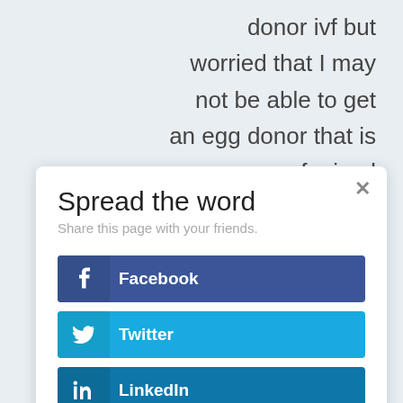donor ivf but worried that I may not be able to get an egg donor that is of mixed background in the
Spread the word
Share this page with your friends.
Facebook
Twitter
LinkedIn